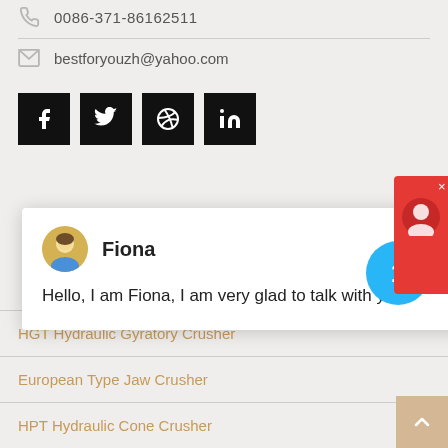0086-371-86162511
bestforyouzh@yahoo.com
[Figure (infographic): Social media icons row: Facebook, Twitter, Dribbble, LinkedIn — all black square buttons]
[Figure (screenshot): Chat popup with avatar of Fiona and message: Hello, I am Fiona, I am very glad to talk with you!]
HGT Hydraulic Gyratory Crusher
European Type Jaw Crusher
HPT Hydraulic Cone Crusher